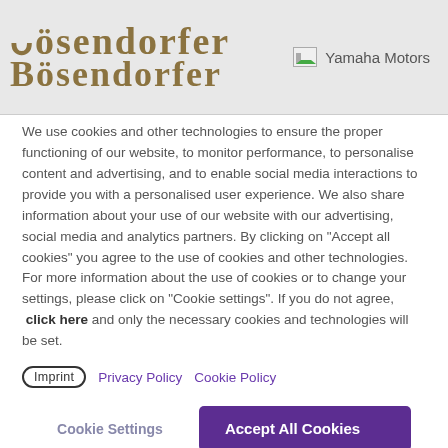[Figure (logo): Bösendorfer brand logo in ornate blackletter style, golden-brown color]
Yamaha Motors
We use cookies and other technologies to ensure the proper functioning of our website, to monitor performance, to personalise content and advertising, and to enable social media interactions to provide you with a personalised user experience. We also share information about your use of our website with our advertising, social media and analytics partners. By clicking on "Accept all cookies" you agree to the use of cookies and other technologies. For more information about the use of cookies or to change your settings, please click on "Cookie settings". If you do not agree,  click here and only the necessary cookies and technologies will be set.
Imprint   Privacy Policy   Cookie Policy
Cookie Settings
Accept All Cookies